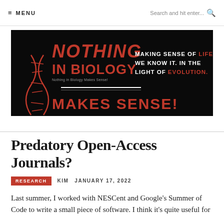≡ MENU   Search and hit enter... 🔍
[Figure (logo): Nothing in Biology Makes Sense! blog banner — black background with red and white stylized text reading 'Nothing in Biology Makes Sense!' with DNA helix illustration and tagline 'Making Sense of Life as We Know It. In the Light of Evolution.']
Predatory Open-Access Journals?
RESEARCH   KIM   JANUARY 17, 2022
Last summer, I worked with NESCent and Google's Summer of Code to write a small piece of software. I think it's quite useful for